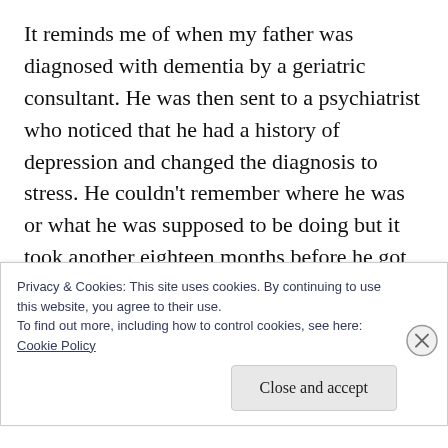It reminds me of when my father was diagnosed with dementia by a geriatric consultant. He was then sent to a psychiatrist who noticed that he had a history of depression and changed the diagnosis to stress. He couldn't remember where he was or what he was supposed to be doing but it took another eighteen months before he got back the dementia diagnosis. The psychiatrist's word was taken as law. They only managed to overrule it by assuming that my father must
Privacy & Cookies: This site uses cookies. By continuing to use this website, you agree to their use.
To find out more, including how to control cookies, see here:
Cookie Policy
Close and accept